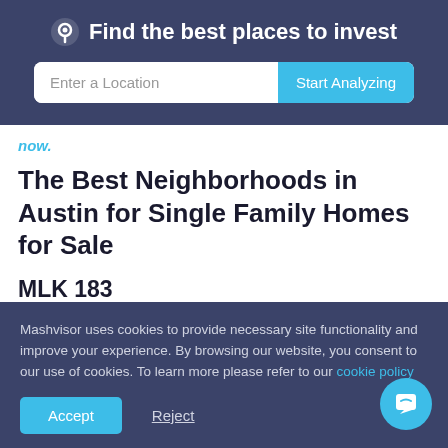Find the best places to invest
now.
The Best Neighborhoods in Austin for Single Family Homes for Sale
MLK 183
Median Property Price: $322,557
Mashvisor uses cookies to provide necessary site functionality and improve your experience. By browsing our website, you consent to our use of cookies. To learn more please refer to our cookie policy
Accept  Reject